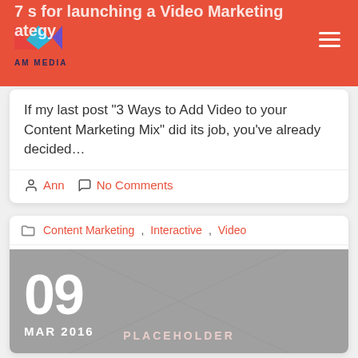AM MEDIA
If my last post “3 Ways to Add Video to your Content Marketing Mix” did its job, you’ve already decided…
Ann  No Comments
Content Marketing, Interactive, Video
[Figure (photo): Gray image placeholder with diagonal lines, date overlay showing 09 MAR 2016, and PLACEHOLDER label at the bottom]